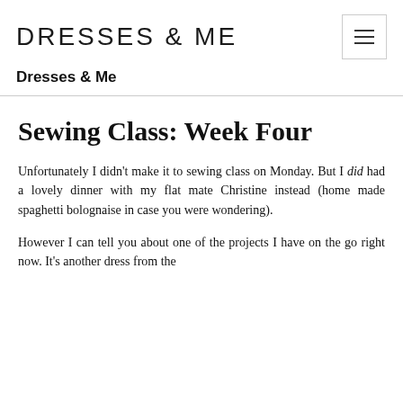DRESSES & ME
Dresses & Me
Sewing Class: Week Four
Unfortunately I didn't make it to sewing class on Monday. But I did had a lovely dinner with my flat mate Christine instead (home made spaghetti bolognaise in case you were wondering).
However I can tell you about one of the projects I have on the go right now. It's another dress from the